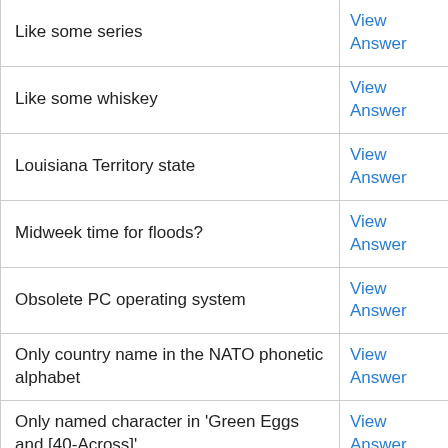| Clue | Action |
| --- | --- |
| Like some series | View Answer |
| Like some whiskey | View Answer |
| Louisiana Territory state | View Answer |
| Midweek time for floods? | View Answer |
| Obsolete PC operating system | View Answer |
| Only country name in the NATO phonetic alphabet | View Answer |
| Only named character in 'Green Eggs and [40-Across]' | View Answer |
| Ref. book set | View Answer |